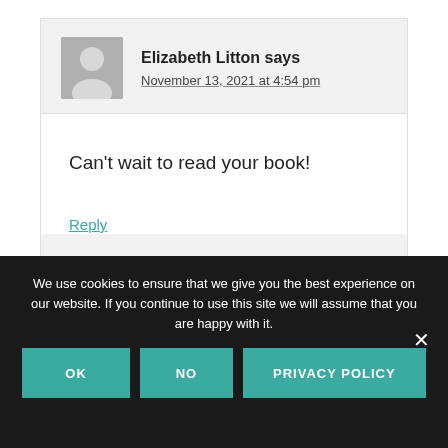Elizabeth Litton says
November 13, 2021 at 4:54 pm
Can't wait to read your book!
Reply
We use cookies to ensure that we give you the best experience on our website. If you continue to use this site we will assume that you are happy with it.
OK
NO
PRIVACY POLICY